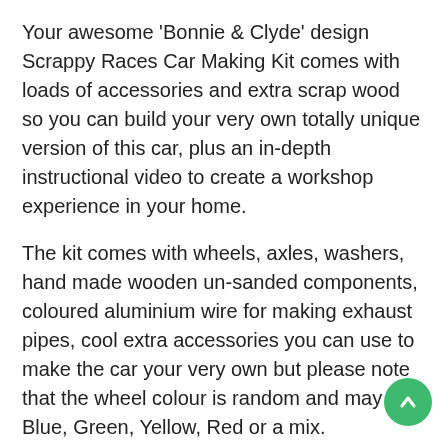Your awesome 'Bonnie & Clyde' design Scrappy Races Car Making Kit comes with loads of accessories and extra scrap wood so you can build your very own totally unique version of this car, plus an in-depth instructional video to create a workshop experience in your home.
The kit comes with wheels, axles, washers, hand made wooden un-sanded components, coloured aluminium wire for making exhaust pipes, cool extra accessories you can use to make the car your very own but please note that the wheel colour is random and may be Blue, Green, Yellow, Red or a mix.
The kit also includes PVA to attach the main components and glue dots for mess-free, instant sticking of accessories.
You'll have all you need to build the very best and faste car around so take your time and make your car truly awesome! The kits can be coloured with pen or painted once they're made too.